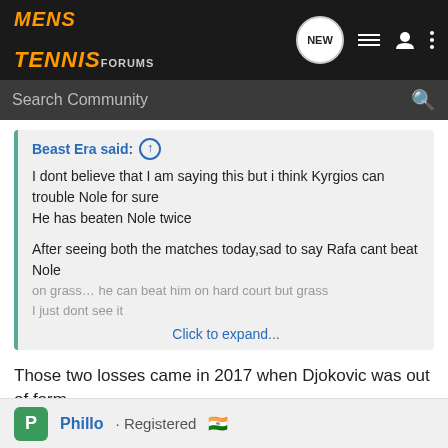MENS TENNIS FORUMS - NEW
Search Community
Beast Era said: ↑
I dont believe that I am saying this but i think Kyrgios can trouble Nole for sure
He has beaten Nole twice

After seeing both the matches today,sad to say Rafa cant beat Nole on grass… he can beat him on hard court but grass
I just dont see it
Click to expand...
Those two losses came in 2017 when Djokovic was out of form.
Phillo · Registered 🇮🇳